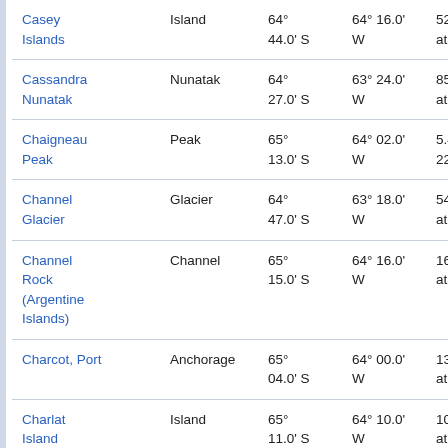| Name | Type | Latitude | Longitude | Info |
| --- | --- | --- | --- | --- |
| Casey Islands | Island | 64° 44.0' S | 64° 16.0' W | 52.2 at 34 |
| Cassandra Nunatak | Nunatak | 64° 27.0' S | 63° 24.0' W | 85.6 at 18 |
| Chaigneau Peak | Peak | 65° 13.0' S | 64° 02.0' W | 5.4 k 226° |
| Channel Glacier | Glacier | 64° 47.0' S | 63° 18.0' W | 54.0 at 35 |
| Channel Rock (Argentine Islands) | Channel | 65° 15.0' S | 64° 16.0' W | 16.5 at 24 |
| Charcot, Port | Anchorage | 65° 04.0' S | 64° 00.0' W | 13.2 at 35 |
| Charlat Island | Island | 65° 11.0' S | 64° 10.0' W | 10.1 at 27 |